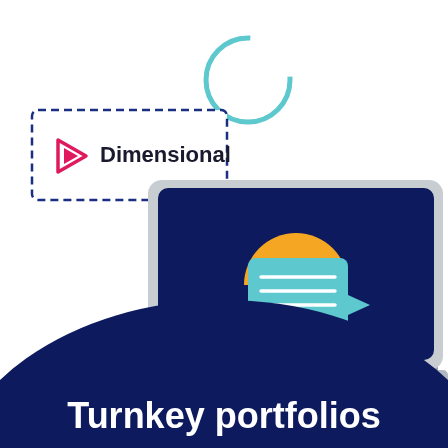[Figure (illustration): Illustration of a laptop computer with a dark navy blue screen showing a gold/yellow semicircle/sun shape. A teal speech bubble with horizontal lines appears to the left of the laptop screen. A dashed-border rectangle in the upper left contains the Dimensional logo (pink/red play button triangle icon) and the text 'Dimensional'. A teal circle outline appears above the laptop. A large dark navy blue semicircle fills the bottom of the image. White text at the bottom reads 'Turnkey portfolios'.]
Turnkey portfolios